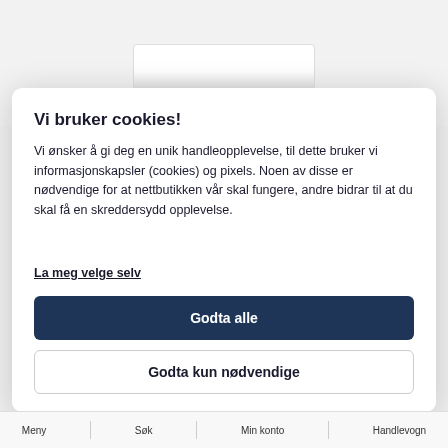[Figure (photo): Product image of the Actisense DIN rail kit, partially visible at top of page]
ACTISENSE DIN SKINNE KIT FOR EMU-1, NDC-5 OG NBF-3
Vi bruker cookies!
Vi ønsker å gi deg en unik handleopplevelse, til dette bruker vi informasjonskapsler (cookies) og pixels. Noen av disse er nødvendige for at nettbutikken vår skal fungere, andre bidrar til at du skal få en skreddersydd opplevelse.
La meg velge selv
Godta alle
Godta kun nødvendige
Meny | Søk | Min konto | Handlevogn